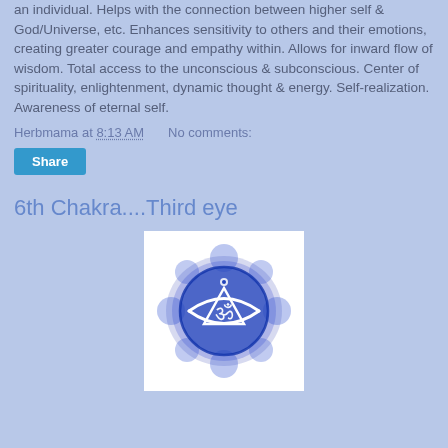an individual. Helps with the connection between higher self & God/Universe, etc. Enhances sensitivity to others and their emotions, creating greater courage and empathy within. Allows for inward flow of wisdom. Total access to the unconscious & subconscious. Center of spirituality, enlightenment, dynamic thought & energy. Self-realization. Awareness of eternal self.
Herbmama at 8:13 AM   No comments:
Share
6th Chakra....Third eye
[Figure (illustration): Blue watercolor Third Eye (Ajna) chakra symbol with Om symbol inside a downward triangle and two curved crescent shapes, forming a circular mandala pattern in deep blue on white background]